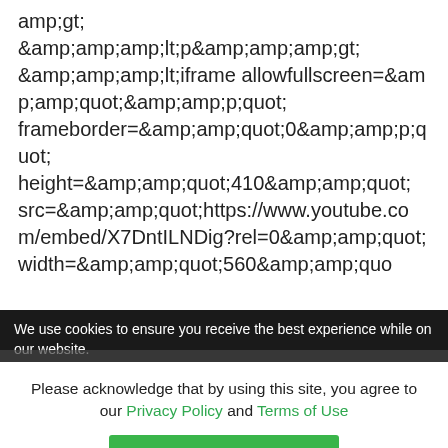amp;gt; &amp;amp;amp;amp;lt;p&amp;amp;amp;amp;gt; &amp;amp;amp;amp;lt;iframe allowfullscreen=&amp;amp;amp;quot;&amp;amp;amp;p;quot; frameborder=&amp;amp;amp;quot;0&amp;amp;amp;p;quot; height=&amp;amp;amp;quot;410&amp;amp;amp;quot; src=&amp;amp;amp;quot;https://www.youtube.com/embed/X7DntILNDig?rel=0&amp;amp;amp;quot; width=&amp;amp;amp;quot;560&amp;amp;amp;quo
We use cookies to ensure you receive the best experience while on our website.
Please acknowledge that by using this site, you agree to our Privacy Policy and Terms of Use
I AGREE